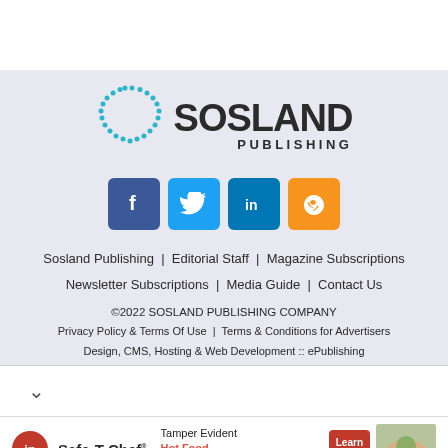[Figure (logo): Sosland Publishing logo with dotted circle graphic and bold SOSLAND PUBLISHING text]
[Figure (infographic): Four social media icon buttons: Facebook (blue), Twitter (light blue), LinkedIn (dark blue), RSS (orange)]
Sosland Publishing  Editorial Staff  Magazine Subscriptions  Newsletter Subscriptions  Media Guide  Contact Us
©2022 SOSLAND PUBLISHING COMPANY
Privacy Policy & Terms Of Use  |  Terms & Conditions for Advertisers
Design, CMS, Hosting & Web Development :: ePublishing
[Figure (photo): Advertisement banner for Safe-T-Chef by ip — Tamper Evident Hot Food Packaging with food image and Learn More button]